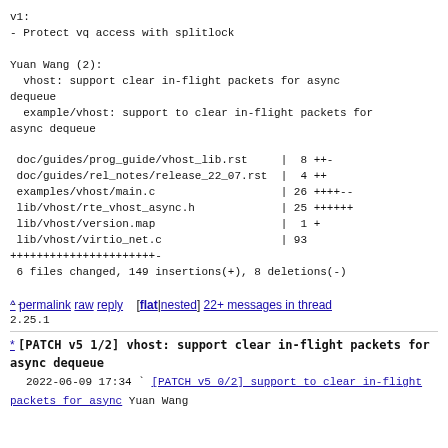v1:
- Protect vq access with splitlock

Yuan Wang (2):
  vhost: support clear in-flight packets for async dequeue
  example/vhost: support to clear in-flight packets for async dequeue

 doc/guides/prog_guide/vhost_lib.rst      |  8 ++-
 doc/guides/rel_notes/release_22_07.rst  |  4 ++
 examples/vhost/main.c                   | 26 ++++--
 lib/vhost/rte_vhost_async.h             | 25 ++++++
 lib/vhost/version.map                   |  1 +
 lib/vhost/virtio_net.c                  | 93
++++++++++++++++++++++-
 6 files changed, 149 insertions(+), 8 deletions(-)

--
2.25.1
^ permalink raw reply  [flat|nested] 22+ messages in thread
* [PATCH v5 1/2] vhost: support clear in-flight packets for async dequeue
  2022-06-09 17:34 ` [PATCH v5 0/2] support to clear in-flight packets for async Yuan Wang